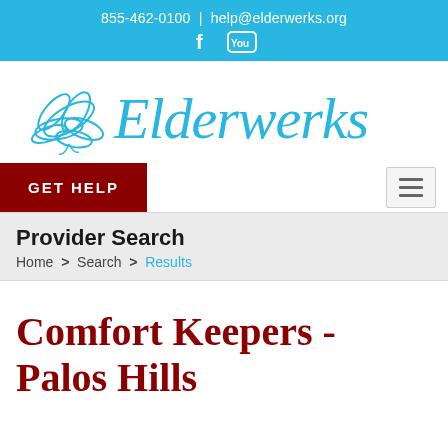855-462-0100 | help@elderwerks.org
[Figure (logo): Elderwerks logo with decorative butterfly/flower illustration and stylized script text 'Elderwerks']
GET HELP
Provider Search
Home > Search > Results
Comfort Keepers - Palos Hills